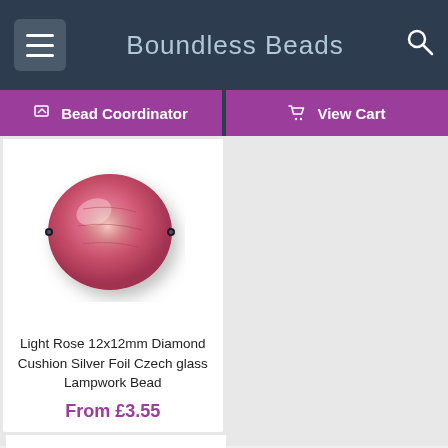Boundless Beads
Bead Coordinator
View Cart
[Figure (photo): Light Rose 12x12mm Diamond Cushion Silver Foil Czech glass Lampwork Bead - a pink/rose glass bead with silver foil interior on white background]
Light Rose 12x12mm Diamond Cushion Silver Foil Czech glass Lampwork Bead
From £3.55
[Figure (photo): Light Rose 16x16mm Diamond Cushion Silver Foil Czech glass Lampwork Bead - a larger pink/rose glass bead with silver foil interior on white background]
Light Rose 16x16mm Diamond Cushion Silver Foil Czech glass Lampwork Bead
From £4.84